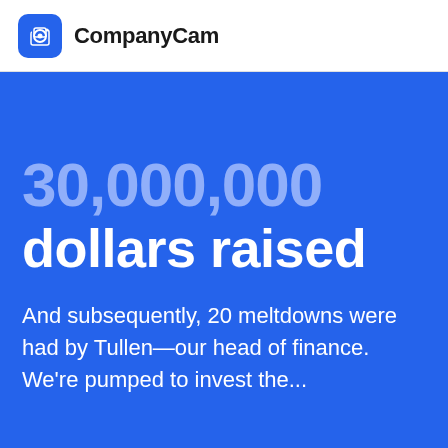CompanyCam
30,000,000
dollars raised
And subsequently, 20 meltdowns were had by Tullen—our head of finance. We're pumped to invest the...